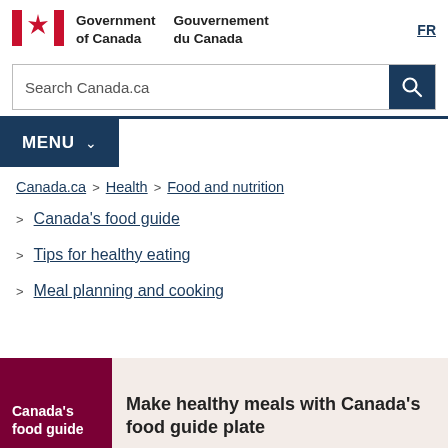[Figure (logo): Government of Canada / Gouvernement du Canada flag wordmark logo with Canadian flag icon]
FR
Search Canada.ca
MENU
Canada.ca > Health > Food and nutrition
Canada's food guide
Tips for healthy eating
Meal planning and cooking
Canada's food guide
Make healthy meals with Canada's food guide plate